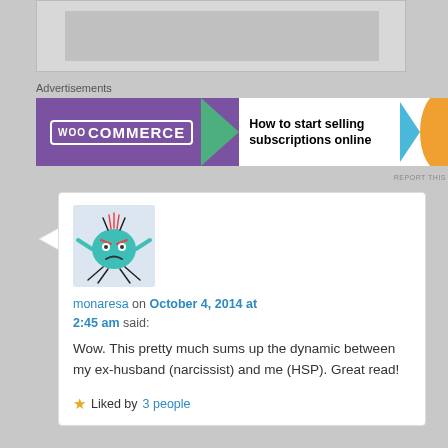[Figure (other): Gray placeholder advertisement box at top of page]
Advertisements
[Figure (other): WooCommerce advertisement banner: purple background with WooCommerce logo, green triangle arrow, and text 'How to start selling subscriptions online'. Orange shape on right edge.]
REPORT THIS
monaresa on October 4, 2014 at 2:45 am said:
Wow. This pretty much sums up the dynamic between my ex-husband (narcissist) and me (HSP). Great read!
★ Liked by 3 people